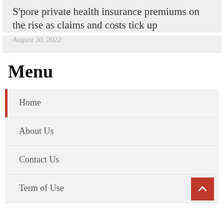S'pore private health insurance premiums on the rise as claims and costs tick up
August 30, 2022
Menu
Home
About Us
Contact Us
Term of Use